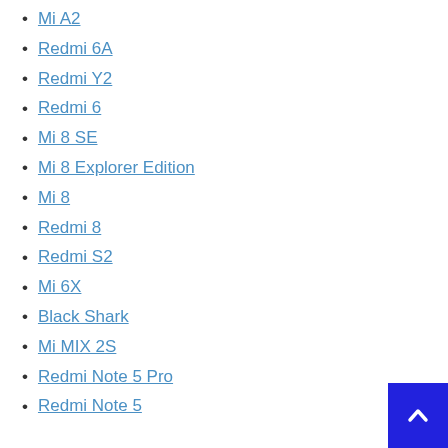Mi A2
Redmi 6A
Redmi Y2
Redmi 6
Mi 8 SE
Mi 8 Explorer Edition
Mi 8
Redmi 8
Redmi S2
Mi 6X
Black Shark
Mi MIX 2S
Redmi Note 5 Pro
Redmi Note 5